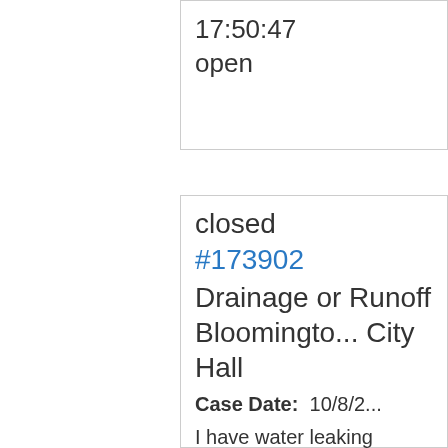17:50:47
open
closed
#173902
Drainage or Runoff
Bloomington City Hall
Case Date: 10/8/2...
I have water leaking continually behind my house from a larger Teal...